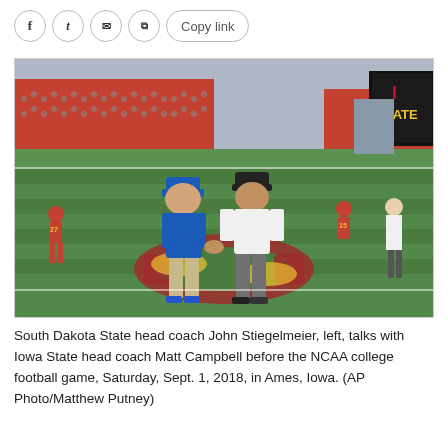[Figure (photo): Social sharing toolbar with Facebook, Twitter, email, copy-link icons and Copy link button]
[Figure (photo): Two football coaches talking on the field at Iowa State stadium before the NCAA college football game. One coach in blue shirt and khaki pants, the other in white shirt and gray pants. The Iowa State logo is visible on the field and a scoreboard with the Iowa State 'I STATE' logo is visible in the background. Stands are filled with fans.]
South Dakota State head coach John Stiegelmeier, left, talks with Iowa State head coach Matt Campbell before the NCAA college football game, Saturday, Sept. 1, 2018, in Ames, Iowa. (AP Photo/Matthew Putney)